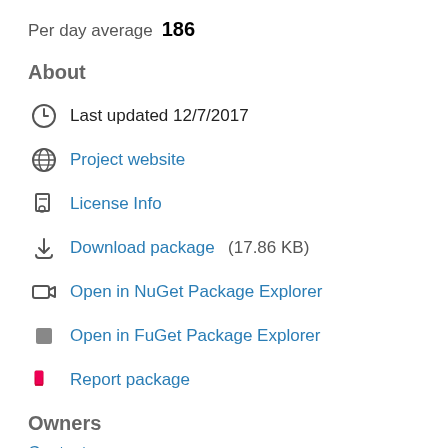Per day average   186
About
Last updated 12/7/2017
Project website
License Info
Download package  (17.86 KB)
Open in NuGet Package Explorer
Open in FuGet Package Explorer
Report package
Owners
Contact owners →